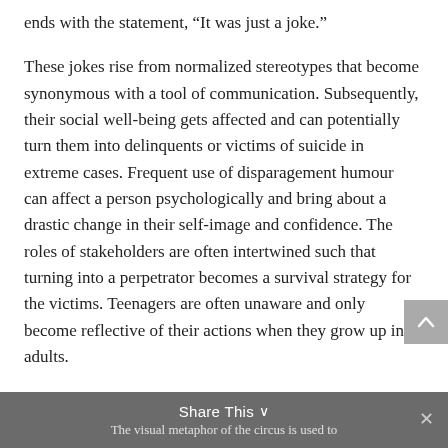ends with the statement, “It was just a joke.”
These jokes rise from normalized stereotypes that become synonymous with a tool of communication. Subsequently, their social well-being gets affected and can potentially turn them into delinquents or victims of suicide in extreme cases. Frequent use of disparagement humour can affect a person psychologically and bring about a drastic change in their self-image and confidence. The roles of stakeholders are often intertwined such that turning into a perpetrator becomes a survival strategy for the victims. Teenagers are often unaware and only become reflective of their actions when they grow up into adults.
Reading casual discrimination amongst teenagers
Share This ∨
The visual metaphor of the circus is used to